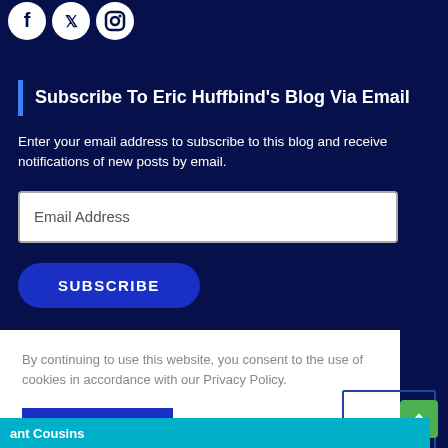[Figure (illustration): Social media icons: Facebook, Twitter, Instagram in white on dark blue background]
Subscribe To Eric Huffbind's Blog Via Email
Enter your email address to subscribe to this blog and receive notifications of new posts by email.
Email Address
SUBSCRIBE
By continuing to use this website, you consent to the use of cookies in accordance with our Privacy Policy.
ACCEPT
ant Cousins